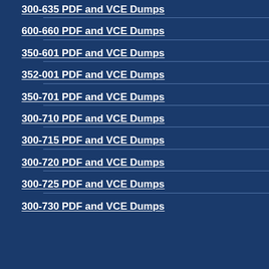300-635 PDF and VCE Dumps
600-660 PDF and VCE Dumps
350-601 PDF and VCE Dumps
352-001 PDF and VCE Dumps
350-701 PDF and VCE Dumps
300-710 PDF and VCE Dumps
300-715 PDF and VCE Dumps
300-720 PDF and VCE Dumps
300-725 PDF and VCE Dumps
300-730 PDF and VCE Dumps